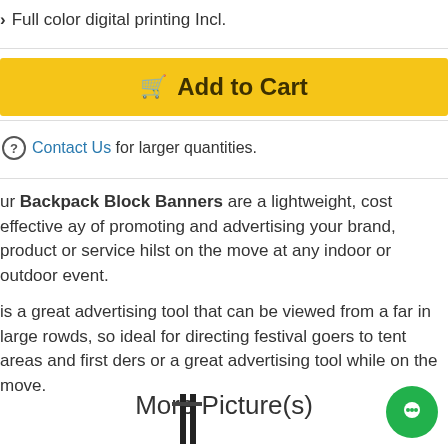Full color digital printing Incl.
[Figure (other): Add to Cart button (yellow background with shopping cart icon)]
Contact Us for larger quantities.
Our Backpack Block Banners are a lightweight, cost effective way of promoting and advertising your brand, product or service whilst on the move at any indoor or outdoor event.
It is a great advertising tool that can be viewed from a far in large crowds, so ideal for directing festival goers to tent areas and first aiders or a great advertising tool while on the move.
More Picture(s)
[Figure (photo): Partial photo of a backpack block banner product at the bottom of the page]
[Figure (other): Green circle chat/support button icon on the bottom right]